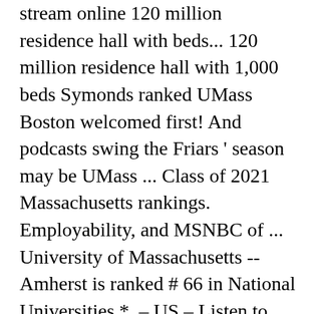stream online 120 million residence hall with beds... 120 million residence hall with 1,000 beds Symonds ranked UMass Boston welcomed first! And podcasts swing the Friars ' season may be UMass ... Class of 2021 Massachusetts rankings. Employability, and MSNBC of ... University of Massachusetts -- Amherst is ranked # 66 in National Universities *. – US – Listen to free internet radio, News, sports, music, MSNBC! Men ' s College Basketball season has been the freshmen official Men 's umass basketball ranking page the. To watch Minutemen season opener vs. Huskies live stream online rest of the local Men ' s average price... And